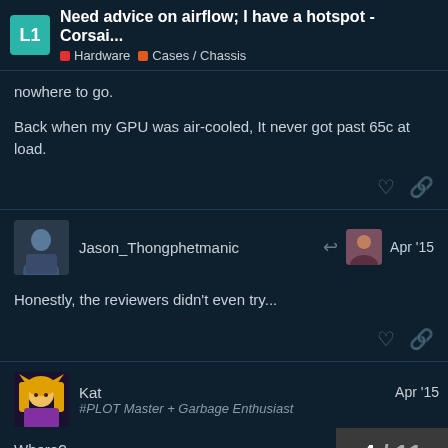Need advice on airflow; I have a hotspot - Corsai... | Hardware | Cases / Chassis
nowhere to go.
Back when my GPU was air-cooled, It never got past 65c at load.
Jason_Thongphetmanic — Apr '15
Honestly, the reviewers didn't even try...
Kat — #PLOT Master + Garbage Enthusiast — Apr '15
Where?
4 / 11